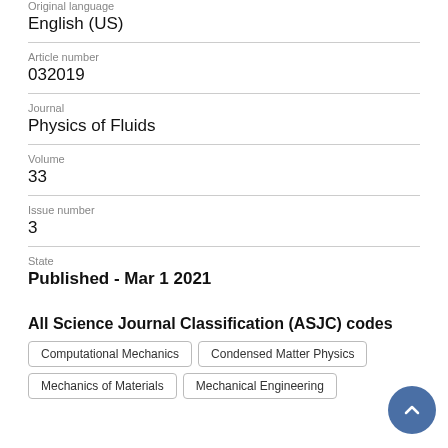Original language
English (US)
Article number
032019
Journal
Physics of Fluids
Volume
33
Issue number
3
State
Published - Mar 1 2021
All Science Journal Classification (ASJC) codes
Computational Mechanics
Condensed Matter Physics
Mechanics of Materials
Mechanical Engineering